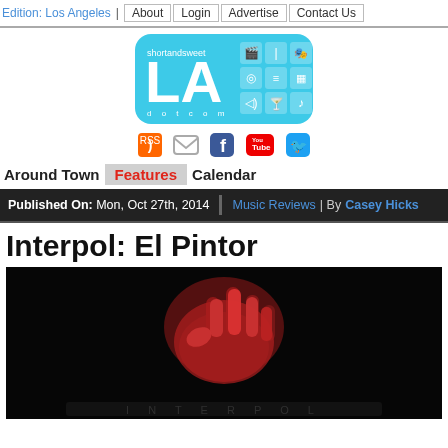Edition: Los Angeles | About  Login  Advertise  Contact Us
[Figure (logo): shortandsweet LA dot com logo on cyan rounded rectangle background with icons for film, drink, camera, sunglasses, portrait, speaker, cocktail, music note]
[Figure (infographic): Social media icons: RSS feed, email, Facebook, YouTube, Twitter]
Around Town  Features  Calendar
Published On: Mon, Oct 27th, 2014  Music Reviews | By Casey Hicks
Interpol: El Pintor
[Figure (photo): Dark photo of red-lit hand making a gesture against black background with partial text visible at bottom]